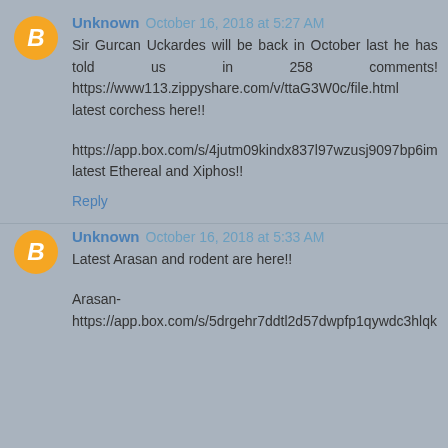Unknown October 16, 2018 at 5:27 AM
Sir Gurcan Uckardes will be back in October last he has told us in 258 comments! https://www113.zippyshare.com/v/ttaG3W0c/file.html  latest corchess here!!
https://app.box.com/s/4jutm09kindx837l97wzusj9097bp6im latest Ethereal and Xiphos!!
Reply
Unknown October 16, 2018 at 5:33 AM
Latest Arasan and rodent are here!!
Arasan-
https://app.box.com/s/5drgehr7ddtl2d57dwpfp1qywdc3hlqk